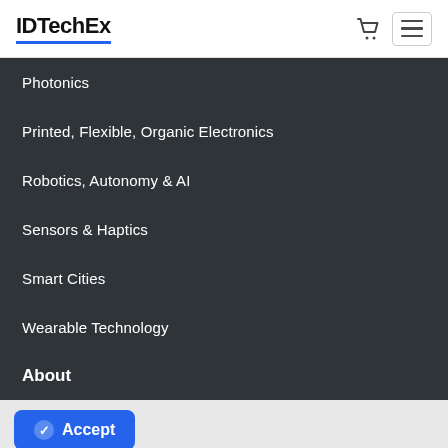IDTechEx
Photonics
Printed, Flexible, Organic Electronics
Robotics, Autonomy & AI
Sensors & Haptics
Smart Cities
Wearable Technology
About
This website uses cookies to offer you the best possible service. For more information about how we use them see our privacy policy.